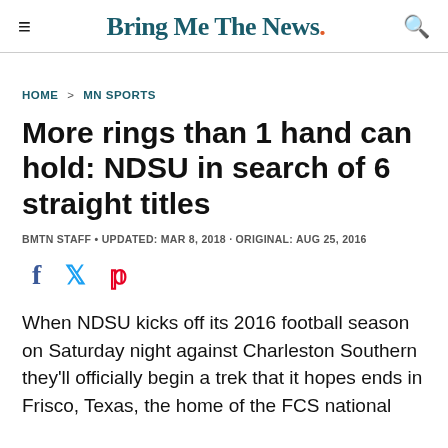Bring Me The News.
HOME > MN SPORTS
More rings than 1 hand can hold: NDSU in search of 6 straight titles
BMTN STAFF • UPDATED: MAR 8, 2018 · ORIGINAL: AUG 25, 2016
[Figure (other): Social sharing icons: Facebook (f), Twitter (bird), Pinterest (p)]
When NDSU kicks off its 2016 football season on Saturday night against Charleston Southern they'll officially begin a trek that it hopes ends in Frisco, Texas, the home of the FCS national